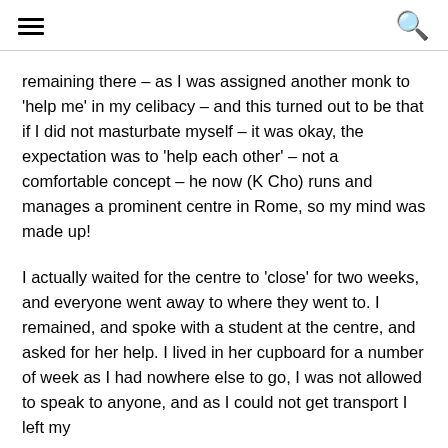[hamburger menu icon] [search icon]
remaining there – as I was assigned another monk to 'help me' in my celibacy – and this turned out to be that if I did not masturbate myself – it was okay, the expectation was to 'help each other' – not a comfortable concept – he now (K Cho) runs and manages a prominent centre in Rome, so my mind was made up!
I actually waited for the centre to 'close' for two weeks, and everyone went away to where they went to. I remained, and spoke with a student at the centre, and asked for her help. I lived in her cupboard for a number of week as I had nowhere else to go, I was not allowed to speak to anyone, and as I could not get transport I left my